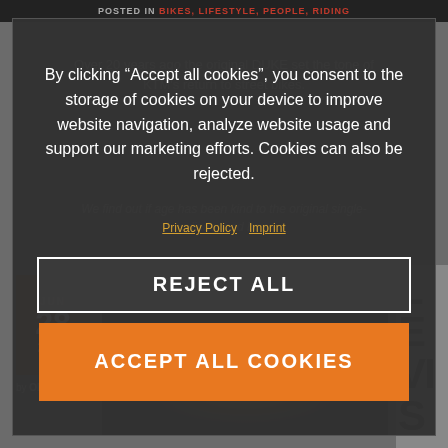POSTED IN BIKES, LIFESTYLE, PEOPLE, RIDING
Over 20 years ago the original DUKE set the tone of KTM's return to street bikes.
We find out if age has been kind to the original single-cylinder bad boy.
By clicking “Accept all cookies”, you consent to the storage of cookies on your device to improve website navigation, analyze website usage and support our marketing efforts. Cookies can also be rejected.
Privacy Policy   Imprint
REJECT ALL
ACCEPT ALL COOKIES
JUN 28 2016
by Oliver Schron